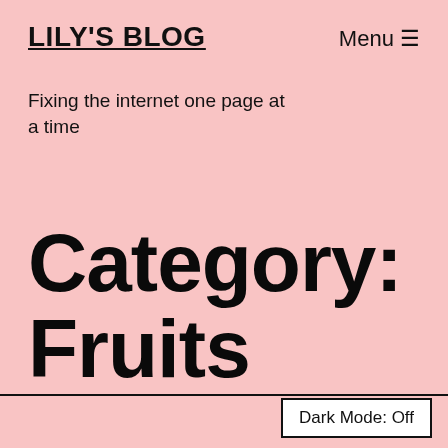LILY'S BLOG
Fixing the internet one page at a time
Category: Fruits
Dark Mode: Off